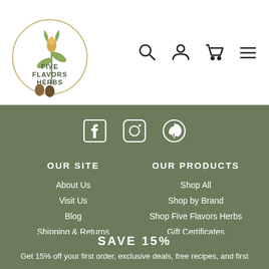[Figure (logo): Five Flavors Herbs circular logo with plant illustrations and text]
[Figure (illustration): Navigation icons: search, user account, shopping cart, hamburger menu]
[Figure (illustration): Social media icons: Facebook, Instagram, Pinterest on green background]
OUR SITE
About Us
Visit Us
Blog
Shipping & Returns
OUR PRODUCTS
Shop All
Shop by Brand
Shop Five Flavors Herbs
Gift Certificates
Gift Certificates
SAVE 15%
Get 15% off your first order, exclusive deals, free recipes, and first